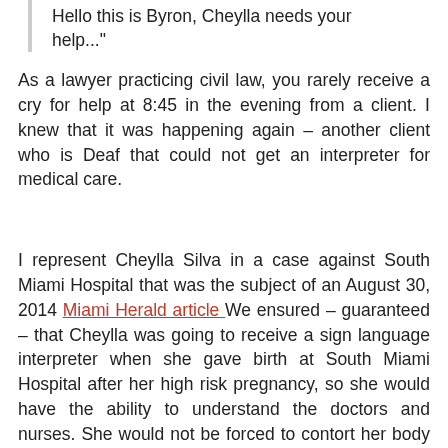Hello this is Byron, Cheylla needs your help…"
As a lawyer practicing civil law, you rarely receive a cry for help at 8:45 in the evening from a client. I knew that it was happening again – another client who is Deaf that could not get an interpreter for medical care.
I represent Cheylla Silva in a case against South Miami Hospital that was the subject of an August 30, 2014 Miami Herald article  We ensured – guaranteed – that Cheylla was going to receive a sign language interpreter when she gave birth at South Miami Hospital after her high risk pregnancy, so she would have the ability to understand the doctors and nurses. She would not be forced to contort her body to use a remote interpreter